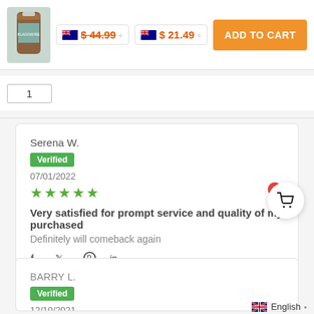[Figure (screenshot): Product image thumbnail (brown supplement bottle with teal label)]
$44.99
$21.49
ADD TO CART
1
Serena W.
Verified
07/01/2022
★★★★★
Very satisfied for prompt service and quality of my purchased
Definitely will comeback again
BARRY L.
Verified
12/10/2021
★★★★☆
English